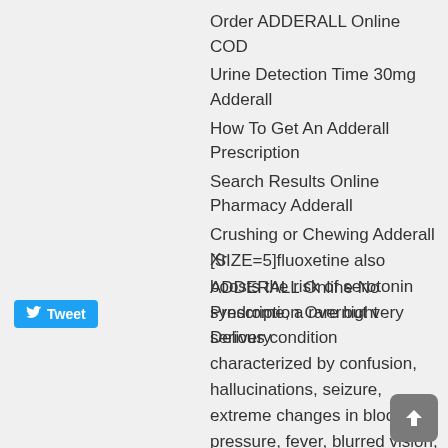Order ADDERALL Online COD
Urine Detection Time 30mg Adderall
How To Get An Adderall Prescription
Search Results Online Pharmacy Adderall
Crushing or Chewing Adderall Xr
ADDERALL Online No Prescription Overnight Delivery
[SIZE=5]fluoxetine also boosts the risk of serotonin syndrome, a rare but very serious condition characterized by confusion, hallucinations, seizure, extreme changes in blood pressure, fever, blurred vision, tremor, vomiting, and more. National Academies Press, July 20, 2006. After being proven to reduce drug-induced anesthesia and produce arousal and insomnia, amphetamine . (5 ADHD-RX ADHD-OFF. to make your determination. If you find an agent, you see, they ll take on the task of helping you get the book written. But what about the far-larger number of